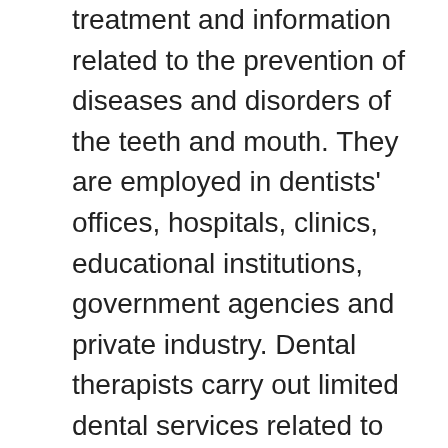treatment and information related to the prevention of diseases and disorders of the teeth and mouth. They are employed in dentists' offices, hospitals, clinics, educational institutions, government agencies and private industry. Dental therapists carry out limited dental services related to the prevention and treatment of diseases and disorders of the teeth and mouth. They are employed by the federal government and the provincial governments to provide services in rural and remote communities.